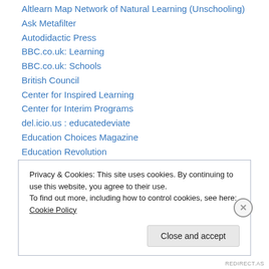Altlearn Map Network of Natural Learning (Unschooling)
Ask Metafilter
Autodidactic Press
BBC.co.uk: Learning
BBC.co.uk: Schools
British Council
Center for Inspired Learning
Center for Interim Programs
del.icio.us : educatedeviate
Education Choices Magazine
Education Revolution
Educational Heretics Press
Educational Voyage Portal
Privacy & Cookies: This site uses cookies. By continuing to use this website, you agree to their use. To find out more, including how to control cookies, see here: Cookie Policy
REDIRECT.AS